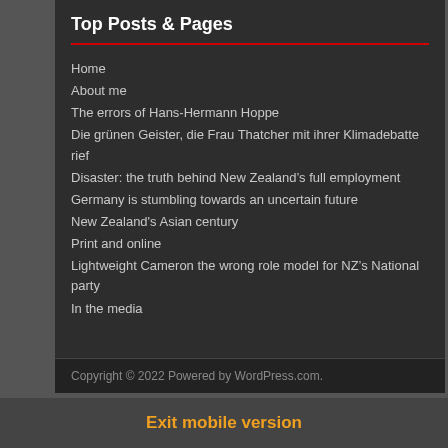Top Posts & Pages
Home
About me
The errors of Hans-Hermann Hoppe
Die grünen Geister, die Frau Thatcher mit ihrer Klimadebatte rief
Disaster: the truth behind New Zealand's full employment
Germany is stumbling towards an uncertain future
New Zealand's Asian century
Print and online
Lightweight Cameron the wrong role model for NZ's National party
In the media
Copyright © 2022 Powered by WordPress.com.
Exit mobile version